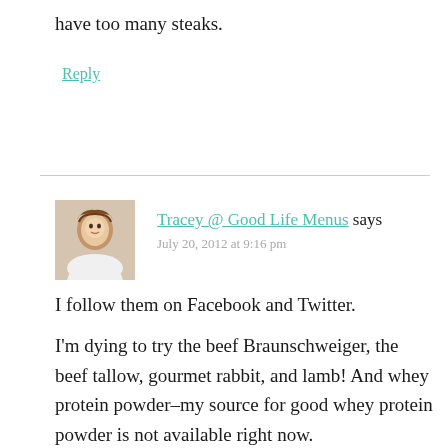have too many steaks.
Reply
Tracey @ Good Life Menus says
July 20, 2012 at 9:16 pm
I follow them on Facebook and Twitter.

I'm dying to try the beef Braunschweiger, the beef tallow, gourmet rabbit, and lamb! And whey protein powder–my source for good whey protein powder is not available right now.